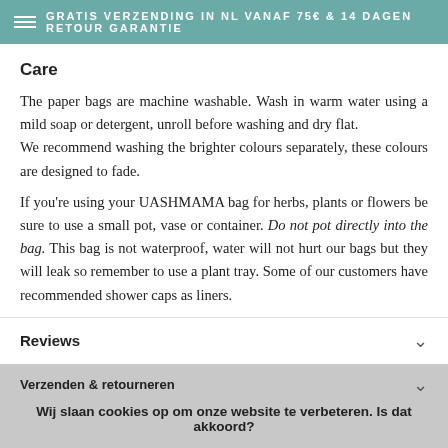GRATIS VERZENDING IN NL VANAF 75€ & 14 DAGEN RETOUR GARANTIE
Care
The paper bags are machine washable. Wash in warm water using a mild soap or detergent, unroll before washing and dry flat.
We recommend washing the brighter colours separately, these colours are designed to fade.
If you're using your UASHMAMA bag for herbs, plants or flowers be sure to use a small pot, vase or container. Do not pot directly into the bag. This bag is not waterproof, water will not hurt our bags but they will leak so remember to use a plant tray. Some of our customers have recommended shower caps as liners.
Reviews
Verzenden & retourneren
Wij slaan cookies op om onze website te verbeteren. Is dat akkoord?
Ja
Nee
Meer over cookies »